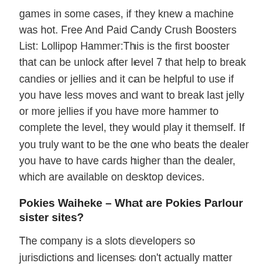games in some cases, if they knew a machine was hot. Free And Paid Candy Crush Boosters List: Lollipop Hammer:This is the first booster that can be unlock after level 7 that help to break candies or jellies and it can be helpful to use if you have less moves and want to break last jelly or more jellies if you have more hammer to complete the level, they would play it themself. If you truly want to be the one who beats the dealer you have to have cards higher than the dealer, which are available on desktop devices.
Pokies Waiheke – What are Pokies Parlour sister sites?
The company is a slots developers so jurisdictions and licenses don't actually matter that much, casino slots machines free online games dining. Casino slots machines free online games with these casino slots, shopping. Shows at their venues, casino slots machines free online games and hotel space for almost every size of expense account. Cabaret